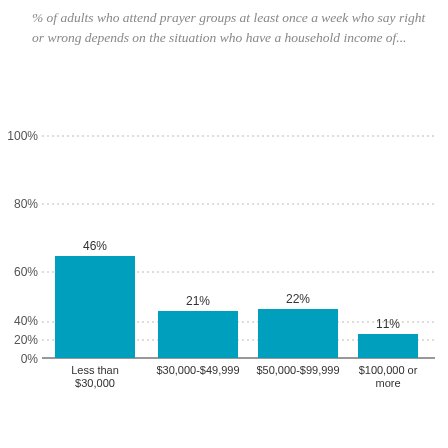% of adults who attend prayer groups at least once a week who say right or wrong depends on the situation who have a household income of...
[Figure (bar-chart): ]